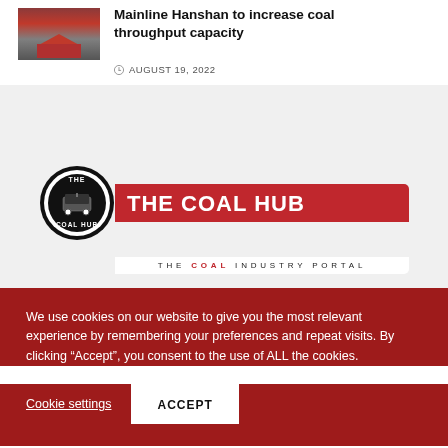... Mainline Hanshan to increase coal throughput capacity
AUGUST 19, 2022
[Figure (logo): The Coal Hub logo — circular emblem with coal cart, red rounded rectangle with 'THE COAL HUB' in white bold text, subtitle 'THE COAL INDUSTRY PORTAL']
We use cookies on our website to give you the most relevant experience by remembering your preferences and repeat visits. By clicking “Accept”, you consent to the use of ALL the cookies.
Cookie settings   ACCEPT